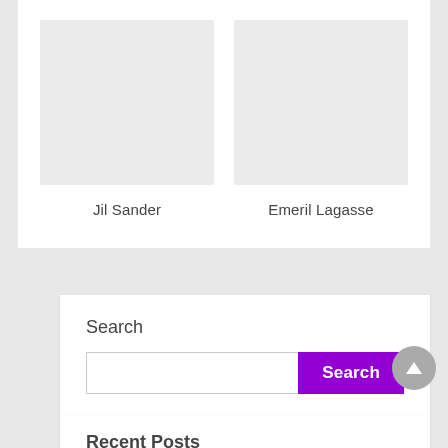[Figure (photo): Gray placeholder image for Jil Sander]
Jil Sander
[Figure (photo): Gray placeholder image for Emeril Lagasse]
Emeril Lagasse
Search
Search
Recent Posts